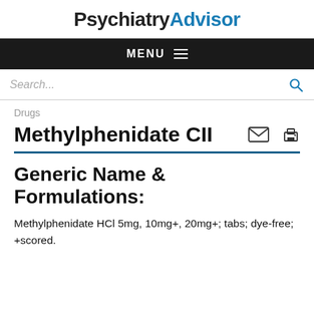PsychiatryAdvisor
MENU
Search...
Drugs
Methylphenidate CII
Generic Name & Formulations:
Methylphenidate HCl 5mg, 10mg+, 20mg+; tabs; dye-free; +scored.